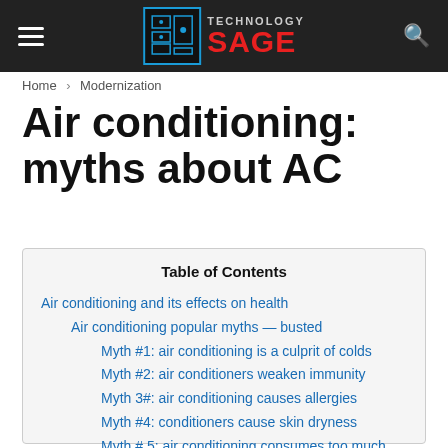Technology Sage
Home › Modernization
Air conditioning: myths about AC
| Table of Contents |
| --- |
| Air conditioning and its effects on health |
| Air conditioning popular myths — busted |
| Myth #1: air conditioning is a culprit of colds |
| Myth #2: air conditioners weaken immunity |
| Myth 3#: air conditioning causes allergies |
| Myth #4: conditioners cause skin dryness |
| Myth # 5: air conditioning consumes too much energy |